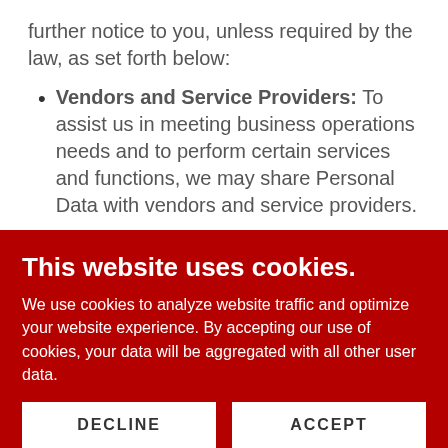further notice to you, unless required by the law, as set forth below:
Vendors and Service Providers: To assist us in meeting business operations needs and to perform certain services and functions, we may share Personal Data with vendors and service providers.
This website uses cookies.
We use cookies to analyze website traffic and optimize your website experience. By accepting our use of cookies, your data will be aggregated with all other user data.